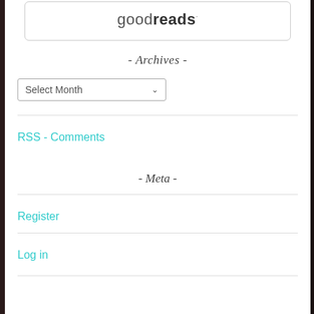[Figure (logo): Goodreads logo inside a rounded rectangle border]
- Archives -
[Figure (screenshot): Select Month dropdown widget]
RSS - Comments
- Meta -
Register
Log in